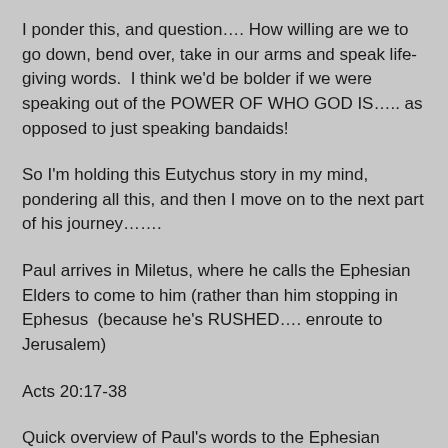I ponder this, and question…. How willing are we to go down, bend over, take in our arms and speak life-giving words.  I think we'd be bolder if we were speaking out of the POWER OF WHO GOD IS….. as opposed to just speaking bandaids!
So I'm holding this Eutychus story in my mind, pondering all this, and then I move on to the next part of his journey…….
Paul arrives in Miletus, where he calls the Ephesian Elders to come to him (rather than him stopping in Ephesus  (because he's RUSHED…. enroute to Jerusalem)
Acts 20:17-38
Quick overview of Paul's words to the Ephesian elders…  he tells them about his own tears and trials